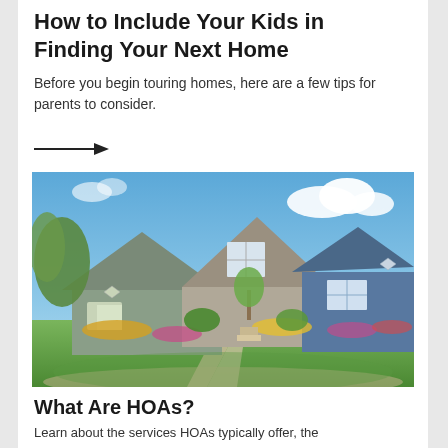How to Include Your Kids in Finding Your Next Home
Before you begin touring homes, here are a few tips for parents to consider.
[Figure (photo): Suburban neighborhood showing several houses with green lawns, colorful flower gardens, and blue sky with clouds.]
What Are HOAs?
Learn about the services HOAs typically offer, the